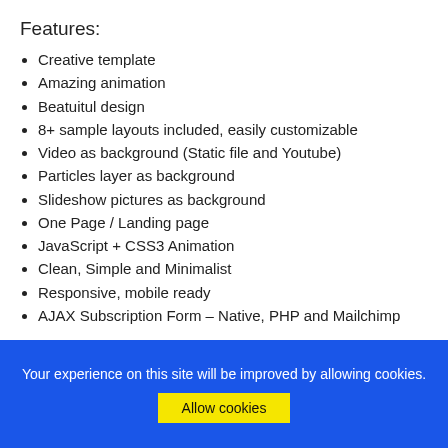Features:
Creative template
Amazing animation
Beatuitul design
8+ sample layouts included, easily customizable
Video as background (Static file and Youtube)
Particles layer as background
Slideshow pictures as background
One Page / Landing page
JavaScript + CSS3 Animation
Clean, Simple and Minimalist
Responsive, mobile ready
AJAX Subscription Form – Native, PHP and Mailchimp
Your experience on this site will be improved by allowing cookies. Allow cookies